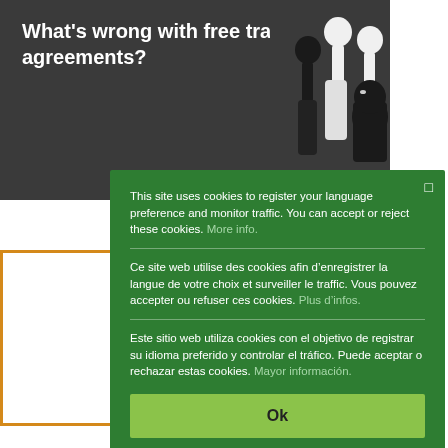What's wrong with free trade agreements?
[Figure (illustration): Black and white illustration of people raising fists in protest]
This site uses cookies to register your language preference and monitor traffic. You can accept or reject these cookies. More info.
Ce site web utilise des cookies afin d’enregistrer la langue de votre choix et surveiller le traffic. Vous pouvez accepter ou refuser ces cookies. Plus d’infos.
Este sitio web utiliza cookies con el objetivo de registrar su idioma preferido y controlar el tráfico. Puede aceptar o rechazar estas cookies. Mayor información.
Ok